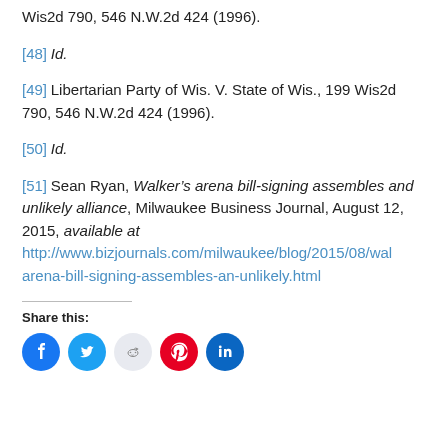Wis2d 790, 546 N.W.2d 424 (1996).
[48] Id.
[49] Libertarian Party of Wis. V. State of Wis., 199 Wis2d 790, 546 N.W.2d 424 (1996).
[50] Id.
[51] Sean Ryan, Walker’s arena bill-signing assembles and unlikely alliance, Milwaukee Business Journal, August 12, 2015, available at http://www.bizjournals.com/milwaukee/blog/2015/08/walkers-arena-bill-signing-assembles-an-unlikely.html
Share this: